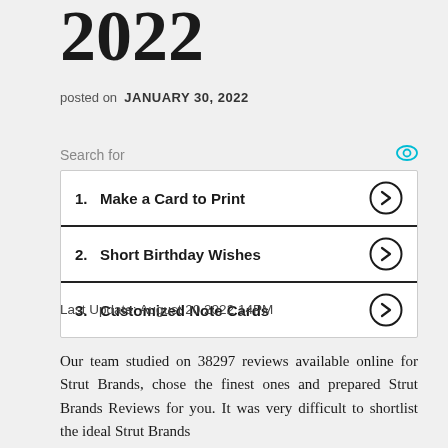2022
posted on  JANUARY 30, 2022
Search for
1.  Make a Card to Print
2.  Short Birthday Wishes
3.  Customized Note Cards
Last Update: August 20 2022 14PM
Our team studied on 38297 reviews available online for Strut Brands, chose the finest ones and prepared Strut Brands Reviews for you. It was very difficult to shortlist the ideal Strut Brands...